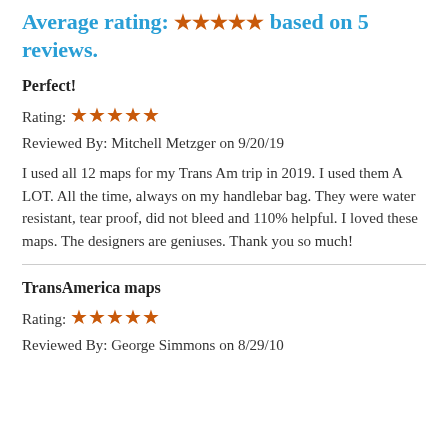Average rating: ★★★★★ based on 5 reviews.
Perfect!
Rating: ★★★★★
Reviewed By: Mitchell Metzger on 9/20/19
I used all 12 maps for my Trans Am trip in 2019. I used them A LOT. All the time, always on my handlebar bag. They were water resistant, tear proof, did not bleed and 110% helpful. I loved these maps. The designers are geniuses. Thank you so much!
TransAmerica maps
Rating: ★★★★★
Reviewed By: George Simmons on 8/29/10